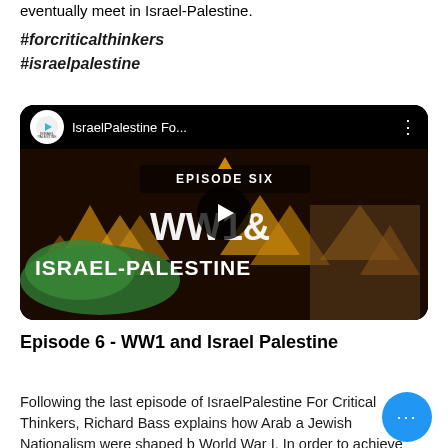eventually meet in Israel-Palestine.
#forcriticalthinkers
#israelpalestine
[Figure (screenshot): YouTube video thumbnail for 'IsraelPalestine Fo...' showing Episode Six - WW1 & Israel-Palestine with animated art and a play button.]
Episode 6 - WW1 and Israel Palestine
Following the last episode of IsraelPalestine For Critical Thinkers, Richard Bass explains how Arab and Jewish Nationalism were shaped by World War I. In order to achieve their